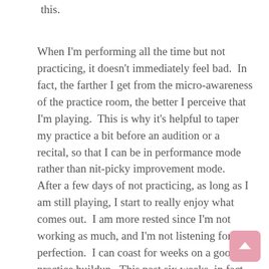this.
When I'm performing all the time but not practicing, it doesn't immediately feel bad.  In fact, the farther I get from the micro-awareness of the practice room, the better I perceive that I'm playing.  This is why it's helpful to taper my practice a bit before an audition or a recital, so that I can be in performance mode rather than nit-picky improvement mode.  After a few days of not practicing, as long as I am still playing, I start to really enjoy what comes out.  I am more rested since I'm not working as much, and I'm not listening for perfection.  I can coast for weeks on a good practice buildup.  This past six weeks, in fact, between the busy holiday schedule and the grueling tour AND the fact that none of my holiday music was hard enough to require real practice I have been out of my normal routine for a